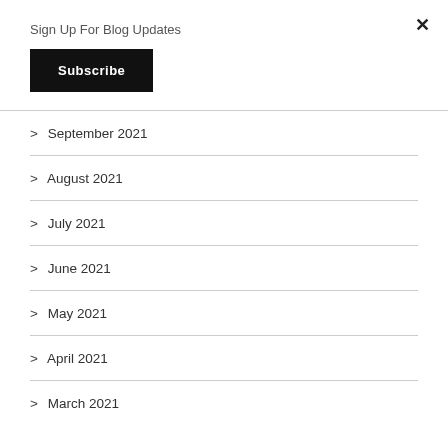Sign Up For Blog Updates
Subscribe
> September 2021
> August 2021
> July 2021
> June 2021
> May 2021
> April 2021
> March 2021